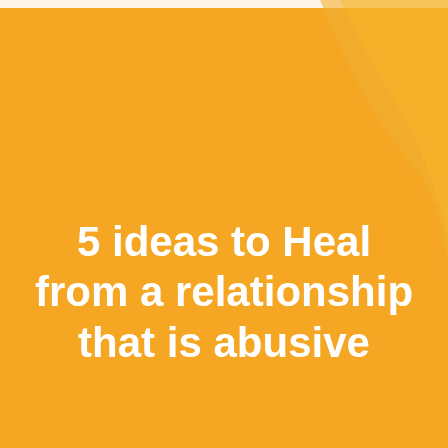[Figure (illustration): Golden yellow background with a lighter curved decorative shape in the upper-right corner]
5 ideas to Heal from a relationship that is abusive